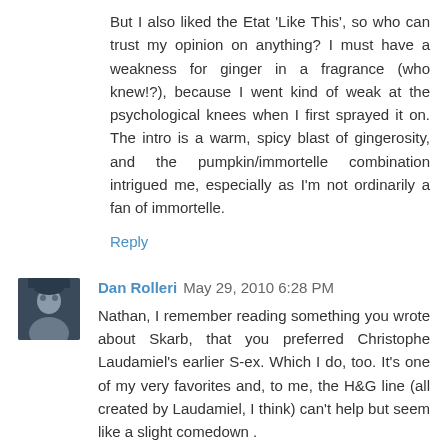But I also liked the Etat 'Like This', so who can trust my opinion on anything? I must have a weakness for ginger in a fragrance (who knew!?), because I went kind of weak at the psychological knees when I first sprayed it on. The intro is a warm, spicy blast of gingerosity, and the pumpkin/immortelle combination intrigued me, especially as I'm not ordinarily a fan of immortelle.
Reply
Dan Rolleri  May 29, 2010 6:28 PM
Nathan, I remember reading something you wrote about Skarb, that you preferred Christophe Laudamiel's earlier S-ex. Which I do, too. It's one of my very favorites and, to me, the H&G line (all created by Laudamiel, I think) can't help but seem like a slight comedown .
And, yes, if you love ginger, Like This is your Elysian Fields. Suspecting my first response was incorrect, I've put it aside and I'll wait until I'm in a ginger frame of mind. Which might not come until autumn.